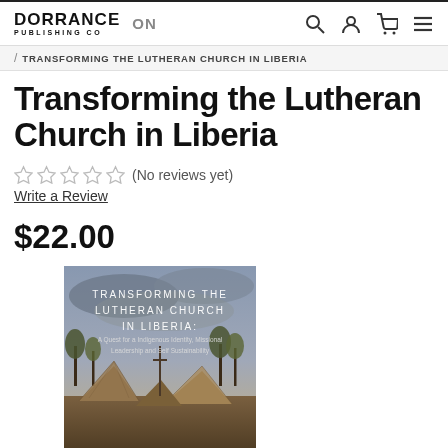DORRANCE PUBLISHING CO | ON | Search | Account | Cart | Menu
/ TRANSFORMING THE LUTHERAN CHURCH IN LIBERIA
Transforming the Lutheran Church in Liberia
☆☆☆☆☆ (No reviews yet)
Write a Review
$22.00
[Figure (photo): Book cover for 'Transforming the Lutheran Church in Liberia: A Quest for a Indigenous Identity, Missional Leadership and Self Sustainability', showing thatched-roof huts and trees under a cloudy sky.]